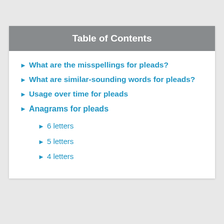Table of Contents
What are the misspellings for pleads?
What are similar-sounding words for pleads?
Usage over time for pleads
Anagrams for pleads
6 letters
5 letters
4 letters